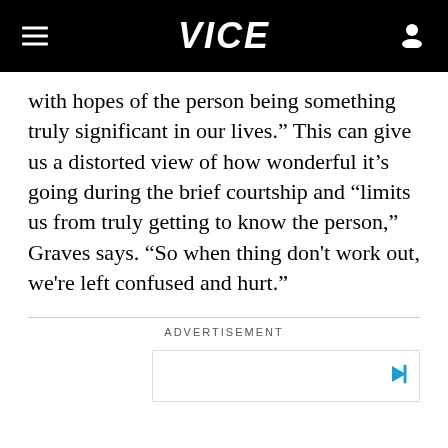VICE
with hopes of the person being something truly significant in our lives.” This can give us a distorted view of how wonderful it’s going during the brief courtship and “limits us from truly getting to know the person,” Graves says. “So when thing don't work out, we're left confused and hurt.”
ADVERTISEMENT
[Figure (other): Advertisement banner placeholder with a play/skip button icon in blue]